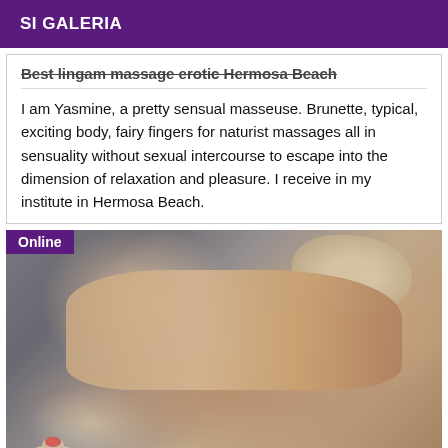SI GALERIA
Best lingam massage erotic Hermosa Beach
I am Yasmine, a pretty sensual masseuse. Brunette, typical, exciting body, fairy fingers for naturist massages all in sensuality without sexual intercourse to escape into the dimension of relaxation and pleasure. I receive in my institute in Hermosa Beach.
[Figure (photo): Spa/massage photo showing a woman lying on a massage table with towel, blurred background, candle in foreground. Online badge overlay in purple.]